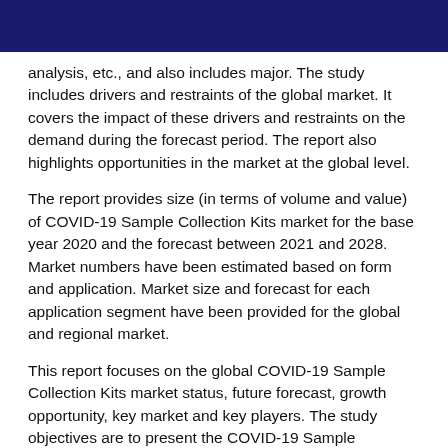analysis, etc., and also includes major. The study includes drivers and restraints of the global market. It covers the impact of these drivers and restraints on the demand during the forecast period. The report also highlights opportunities in the market at the global level.
The report provides size (in terms of volume and value) of COVID-19 Sample Collection Kits market for the base year 2020 and the forecast between 2021 and 2028. Market numbers have been estimated based on form and application. Market size and forecast for each application segment have been provided for the global and regional market.
This report focuses on the global COVID-19 Sample Collection Kits market status, future forecast, growth opportunity, key market and key players. The study objectives are to present the COVID-19 Sample Collection Kits market by United States...